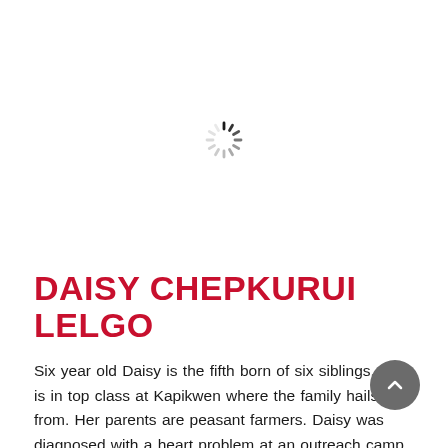[Figure (other): Loading spinner / activity indicator graphic centered in the upper portion of the page]
DAISY CHEPKURUI LELGO
Six year old Daisy is the fifth born of six siblings. She is in top class at Kapikwen where the family hails from. Her parents are peasant farmers. Daisy was diagnosed with a heart problem at an outreach camp organized by the Mater Cardiac program in Nandi in September last year. She had a full cardiac evaluation and